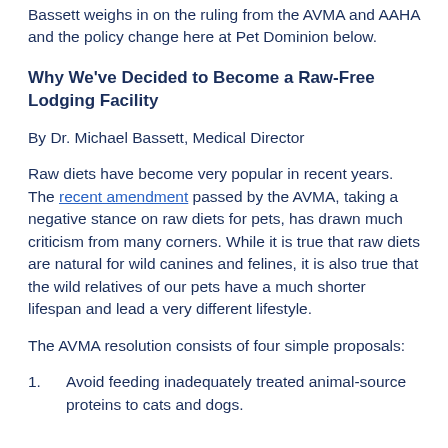Bassett weighs in on the ruling from the AVMA and AAHA and the policy change here at Pet Dominion below.
Why We've Decided to Become a Raw-Free Lodging Facility
By Dr. Michael Bassett, Medical Director
Raw diets have become very popular in recent years. The recent amendment passed by the AVMA, taking a negative stance on raw diets for pets, has drawn much criticism from many corners. While it is true that raw diets are natural for wild canines and felines, it is also true that the wild relatives of our pets have a much shorter lifespan and lead a very different lifestyle.
The AVMA resolution consists of four simple proposals:
1. Avoid feeding inadequately treated animal-source proteins to cats and dogs.